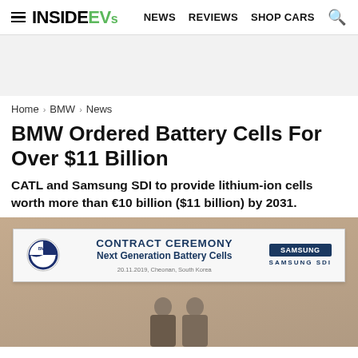InsideEVs — NEWS  REVIEWS  SHOP CARS
Home > BMW > News
BMW Ordered Battery Cells For Over $11 Billion
CATL and Samsung SDI to provide lithium-ion cells worth more than €10 billion ($11 billion) by 2031.
[Figure (photo): Contract ceremony banner showing BMW logo and Samsung SDI logo with text 'CONTRACT CEREMONY Next Generation Battery Cells, 20.11.2019, Cheonan, South Korea', with two people visible at the bottom of the image.]